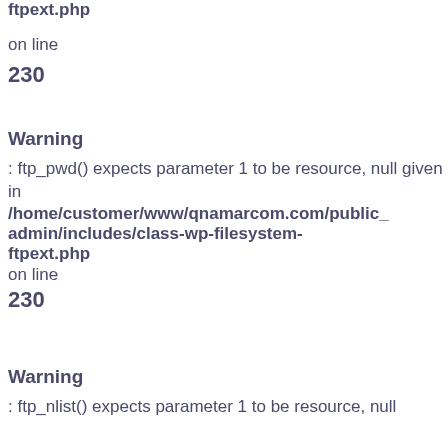ftpext.php
on line
230
Warning
: ftp_pwd() expects parameter 1 to be resource, null given in /home/customer/www/qnamarcom.com/public_admin/includes/class-wp-filesystem-ftpext.php on line 230
Warning
: ftp_nlist() expects parameter 1 to be resource, null